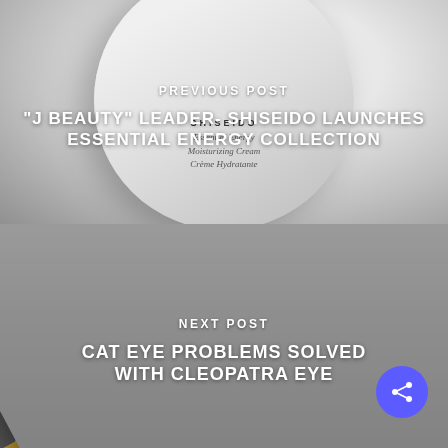[Figure (photo): Close-up photo of a Shiseido Essential Energy Moisturizing Cream jar against a gray background]
PREVIOUS POST
"J BEAUTY" LEADER- SHISEIDO LAUNCHES ESSENTIAL ENERGY COLLECTION
[Figure (photo): Photo of a black and gold eyeliner pen against a gray background]
NEXT POST
CAT EYE PROBLEMS SOLVED WITH CLEOPATRA EYE